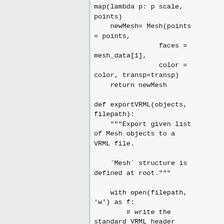map(lambda p: p scale, points)
    newMesh= Mesh(points = points,
                    faces = mesh_data[1],
                    color = color, transp=transp)
    return newMesh

def exportVRML(objects, filepath):
    """Export given list of Mesh objects to a VRML file.

    `Mesh` structure is defined at root."""

    with open(filepath, 'w') as f:
        # write the standard VRML header